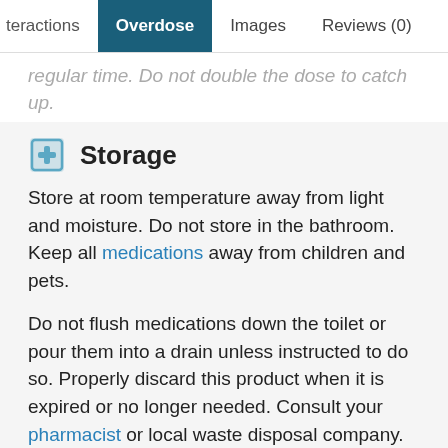teractions | Overdose | Images | Reviews (0)
regular time. Do not double the dose to catch up.
Storage
Store at room temperature away from light and moisture. Do not store in the bathroom. Keep all medications away from children and pets.
Do not flush medications down the toilet or pour them into a drain unless instructed to do so. Properly discard this product when it is expired or no longer needed. Consult your pharmacist or local waste disposal company.